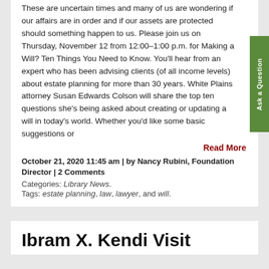These are uncertain times and many of us are wondering if our affairs are in order and if our assets are protected should something happen to us. Please join us on Thursday, November 12 from 12:00–1:00 p.m. for Making a Will? Ten Things You Need to Know. You'll hear from an expert who has been advising clients (of all income levels) about estate planning for more than 30 years. White Plains attorney Susan Edwards Colson will share the top ten questions she's being asked about creating or updating a will in today's world. Whether you'd like some basic suggestions or
Read More
October 21, 2020 11:45 am | by Nancy Rubini, Foundation Director | 2 Comments
Categories: Library News.
Tags: estate planning, law, lawyer, and will.
Ibram X. Kendi Visit